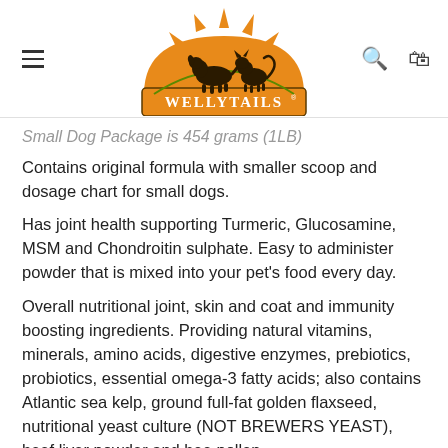WellyTails logo with hamburger menu, search and cart icons
Small Dog Package is 454 grams (1LB)
Contains original formula with smaller scoop and dosage chart for small dogs.
Has joint health supporting Turmeric, Glucosamine, MSM and Chondroitin sulphate. Easy to administer powder that is mixed into your pet’s food every day.
Overall nutritional joint, skin and coat and immunity boosting ingredients. Providing natural vitamins, minerals, amino acids, digestive enzymes, prebiotics, probiotics, essential omega-3 fatty acids; also contains Atlantic sea kelp, ground full-fat golden flaxseed, nutritional yeast culture (NOT BREWERS YEAST), beef liver powder and bee pollen.
Recommended to feed half of the daily dose with the AM...